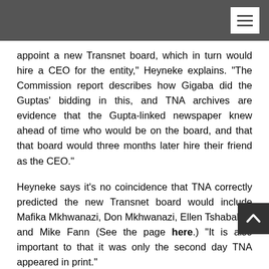appoint a new Transnet board, which in turn would hire a CEO for the entity,” Heyneke explains. “The Commission report describes how Gigaba did the Guptas’ bidding in this, and TNA archives are evidence that the Gupta-linked newspaper knew ahead of time who would be on the board, and that that board would three months later hire their friend as the CEO.”
Heyneke says it’s no coincidence that TNA correctly predicted the new Transnet board would include Mafika Mkhwanazi, Don Mkhwanazi, Ellen Tshabalala and Mike Fann (See the page here.) “It is also important to that it was only the second day TNA appeared in print.”